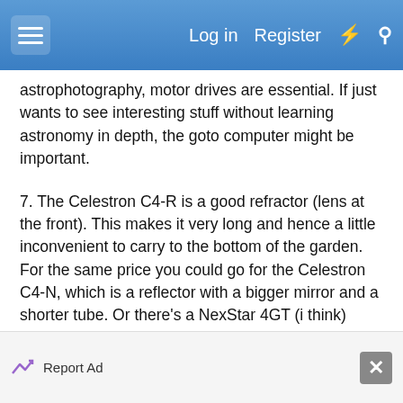Log in  Register
astrophotography, motor drives are essential. If just wants to see interesting stuff without learning astronomy in depth, the goto computer might be important.
7. The Celestron C4-R is a good refractor (lens at the front). This makes it very long and hence a little inconvenient to carry to the bottom of the garden. For the same price you could go for the Celestron C4-N, which is a reflector with a bigger mirror and a shorter tube. Or there's a NexStar 4GT (i think) which is similar in size to the C4-N but has the goto computer.
Meade almost certainly have models that are identical to these, at similar prices.
Report Ad